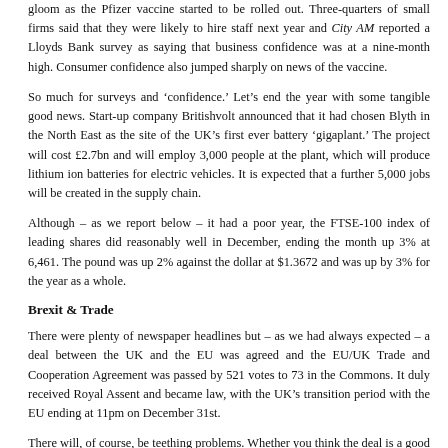gloom as the Pfizer vaccine started to be rolled out. Three-quarters of small firms said that they were likely to hire staff next year and City AM reported a Lloyds Bank survey as saying that business confidence was at a nine-month high. Consumer confidence also jumped sharply on news of the vaccine.
So much for surveys and ‘confidence.’ Let’s end the year with some tangible good news. Start-up company Britishvolt announced that it had chosen Blyth in the North East as the site of the UK’s first ever battery ‘gigaplant.’ The project will cost £2.7bn and will employ 3,000 people at the plant, which will produce lithium ion batteries for electric vehicles. It is expected that a further 5,000 jobs will be created in the supply chain.
Although – as we report below – it had a poor year, the FTSE-100 index of leading shares did reasonably well in December, ending the month up 3% at 6,461. The pound was up 2% against the dollar at $1.3672 and was up by 3% for the year as a whole.
Brexit & Trade
There were plenty of newspaper headlines but – as we had always expected – a deal between the UK and the EU was agreed and the EU/UK Trade and Cooperation Agreement was passed by 521 votes to 73 in the Commons. It duly received Royal Assent and became law, with the UK’s transition period with the EU ending at 11pm on December 31st.
There will, of course, be teething problems. Whether you think the deal is a good thing or a bad thing almost certainly depends on how y… in the Referendum. For all the sound and fury since then, we d… many people have changed their minds.
The UK signed a free trade deal with Turkey at the end of the month, and there will unquestionably be more deals signed this year.